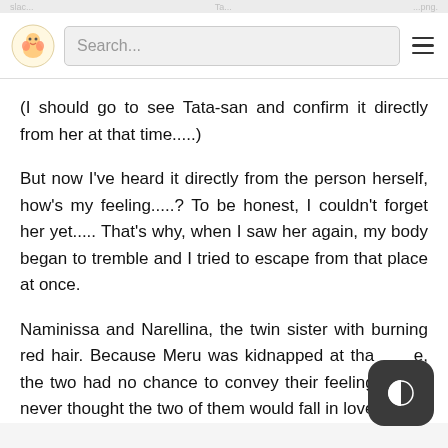Search...
(I should go to see Tata-san and confirm it directly from her at that time.....)
But now I've heard it directly from the person herself, how's my feeling.....? To be honest, I couldn't forget her yet..... That's why, when I saw her again, my body began to tremble and I tried to escape from that place at once.
Naminissa and Narellina, the twin sister with burning red hair. Because Meru was kidnapped at tha e, the two had no chance to convey their feeling f l never thought the two of them would fall in love with